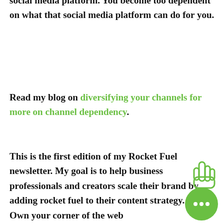social media platform. You become too dependent on what that social media platform can do for you.
Read my blog on diversifying your channels for more on channel dependency.
This is the first edition of my Rocket Fuel newsletter. My goal is to help business professionals and creators scale their brand by adding rocket fuel to their content strategy.
Own your corner of the web